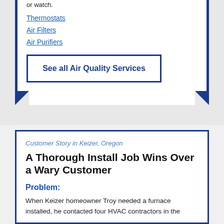or watch.
Thermostats
Air Filters
Air Purifiers
See all Air Quality Services
Customer Story in Keizer, Oregon
A Thorough Install Job Wins Over a Wary Customer
Problem:
When Keizer homeowner Troy needed a furnace installed, he contacted four HVAC contractors in the